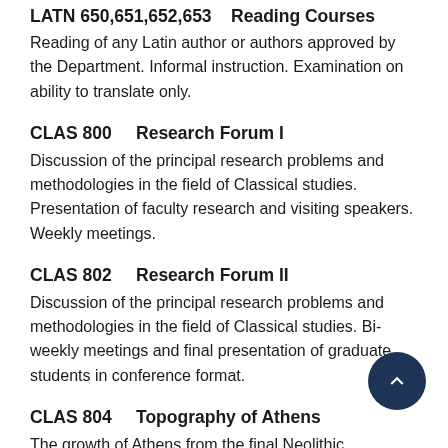LATN 650,651,652,653    Reading Courses
Reading of any Latin author or authors approved by the Department. Informal instruction. Examination on ability to translate only.
CLAS 800    Research Forum I
Discussion of the principal research problems and methodologies in the field of Classical studies. Presentation of faculty research and visiting speakers. Weekly meetings.
CLAS 802    Research Forum II
Discussion of the principal research problems and methodologies in the field of Classical studies. Bi-weekly meetings and final presentation of graduate students in conference format.
CLAS 804    Topography of Athens
The growth of Athens from the final Neolithic